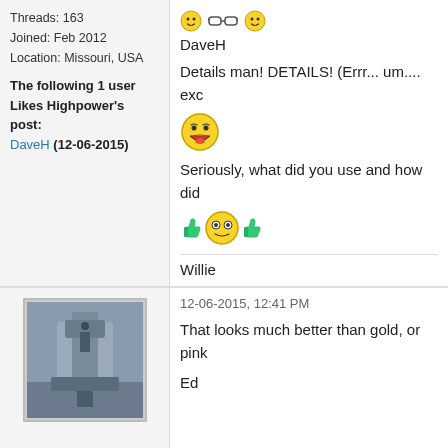Threads: 163
Joined: Feb 2012
Location: Missouri, USA
The following 1 user Likes Highpower's post:
DaveH (12-06-2015)
[Figure (other): Smiley face emoji row with sunglasses and two smiley faces]
DaveH
Details man! DETAILS! (Errr... um.... exc
[Figure (other): Large laughing/excited smiley face emoji]
Seriously, what did you use and how did
[Figure (other): Thumbs up, wide-eyed smiley, thumbs up emoji row]
Willie
12-06-2015, 12:41 PM
[Figure (photo): Photo of a milling machine or similar industrial equipment in a workshop/factory setting]
That looks much better than gold, or pink
Ed